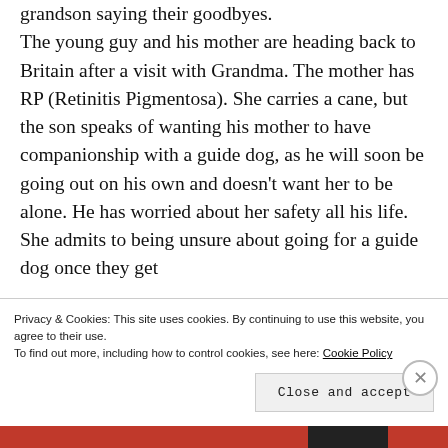grandson saying their goodbyes. The young guy and his mother are heading back to Britain after a visit with Grandma. The mother has RP (Retinitis Pigmentosa). She carries a cane, but the son speaks of wanting his mother to have companionship with a guide dog, as he will soon be going out on his own and doesn't want her to be alone. He has worried about her safety all his life. She admits to being unsure about going for a guide dog once they get
Privacy & Cookies: This site uses cookies. By continuing to use this website, you agree to their use.
To find out more, including how to control cookies, see here: Cookie Policy
Close and accept